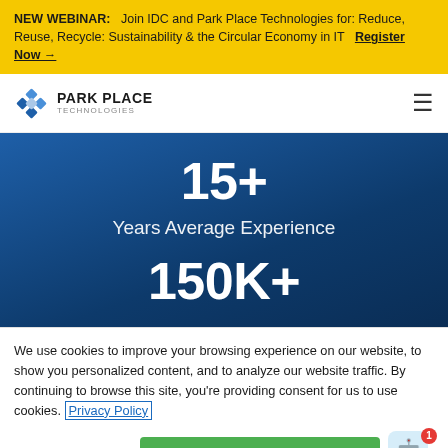NEW WEBINAR: Join IDC and Park Place Technologies for: Reduce, Reuse, Recycle: Sustainability & the Circular Economy in IT   Register Now →
[Figure (logo): Park Place Technologies logo with blue diamond pattern icon and text PARK PLACE TECHNOLOGIES]
15+
Years Average Experience
150K+
We use cookies to improve your browsing experience on our website, to show you personalized content, and to analyze our website traffic. By continuing to browse this site, you're providing consent for us to use cookies. Privacy Policy
Cookie Settings   ✓ Accept Cookies